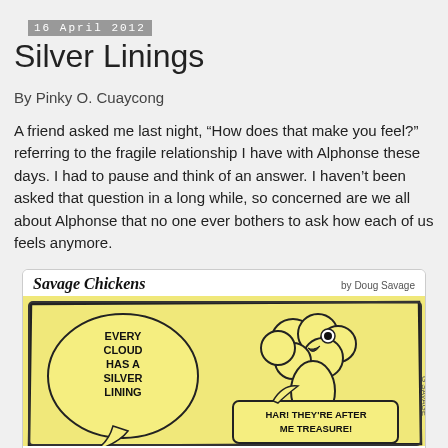16 April 2012
Silver Linings
By Pinky O. Cuaycong
A friend asked me last night, “How does that make you feel?” referring to the fragile relationship I have with Alphonse these days. I had to pause and think of an answer. I haven’t been asked that question in a long while, so concerned are we all about Alphonse that no one ever bothers to ask how each of us feels anymore.
[Figure (illustration): Savage Chickens cartoon by Doug Savage. A yellow sticky note with a cartoon chicken. Speech bubble on left reads: EVERY CLOUD HAS A SILVER LINING. Another panel below right shows text: HAR! THEY'RE AFTER ME TREASURE!]